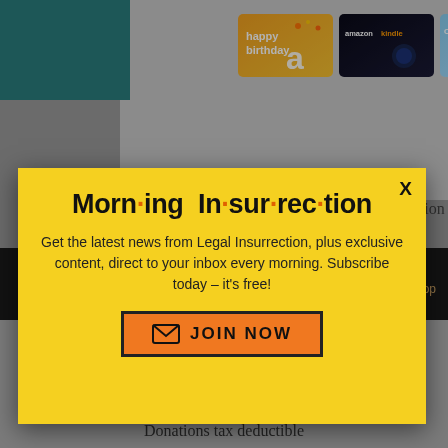[Figure (screenshot): Background webpage with Amazon gift cards, teal accessibility icon, dark footer bar with DONATE button, and a yellow modal popup overlay for Morning Insurrection newsletter subscription]
Morn·ing In·sur·rec·tion
Get the latest news from Legal Insurrection, plus exclusive content, direct to your inbox every morning. Subscribe today – it's free!
JOIN NOW
DONATE
Donations tax deductible